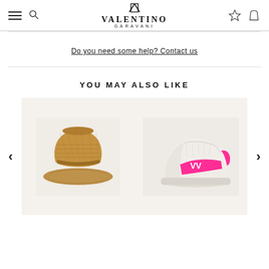Valentino Garavani - navigation header with menu, search, wishlist, cart icons
Do you need some help? Contact us
YOU MAY ALSO LIKE
[Figure (photo): Woven straw fedora hat on beige background]
[Figure (photo): White and neon pink Valentino sneaker with VLogo strap]